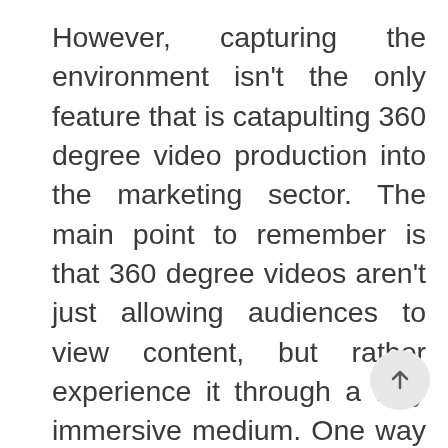However, capturing the environment isn't the only feature that is catapulting 360 degree video production into the marketing sector. The main point to remember is that 360 degree videos aren't just allowing audiences to view content, but rather experience it through a fully immersive medium. One way this is achieved is through interactive hotspots planted inside the video. Take VMP's QUT Virtual Tour for example, where viewers progress throughout the video and interact with various clickable hotspots, presenting additional video, images and additional content. This is not